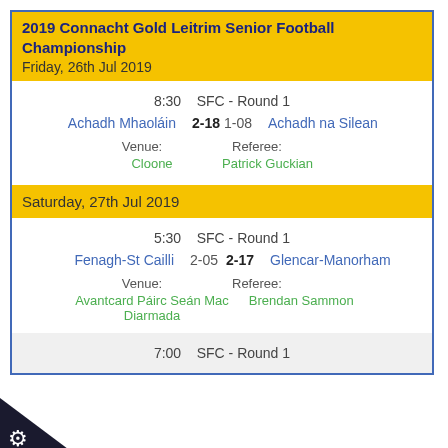2019 Connacht Gold Leitrim Senior Football Championship
Friday, 26th Jul 2019
8:30   SFC - Round 1
Achadh Mhaoláin   2-18   1-08   Achadh na Silean
Venue: Cloone   Referee: Patrick Guckian
Saturday, 27th Jul 2019
5:30   SFC - Round 1
Fenagh-St Cailli   2-05   2-17   Glencar-Manorham
Venue: Avantcard Páirc Seán Mac Diarmada   Referee: Brendan Sammon
7:00   SFC - Round 1